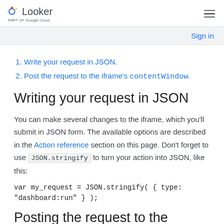Looker — part of Google Cloud
Write your request in JSON.
Post the request to the iframe's contentWindow.
Writing your request in JSON
You can make several changes to the iframe, which you'll submit in JSON form. The available options are described in the Action reference section on this page. Don't forget to use JSON.stringify to turn your action into JSON, like this:
var my_request = JSON.stringify( { type: "dashboard:run" } );
Posting the request to the iframe's contentWindow property